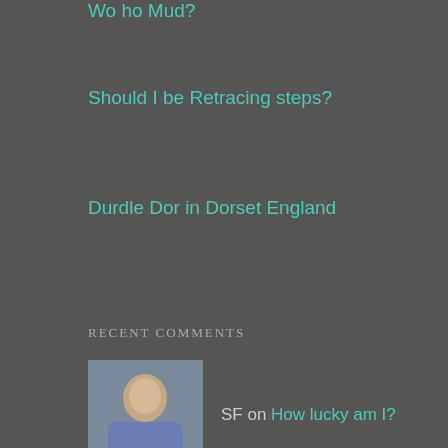Wo ho Mud?
Should I be Retracing steps?
Durdle Dor in Dorset England
RECENT COMMENTS
SF on How lucky am I?
SF on Can we find her?
Amar on Can we find her?
SF on Why I'm so lucky
Emma Price Thomas on Why I'm so lucky